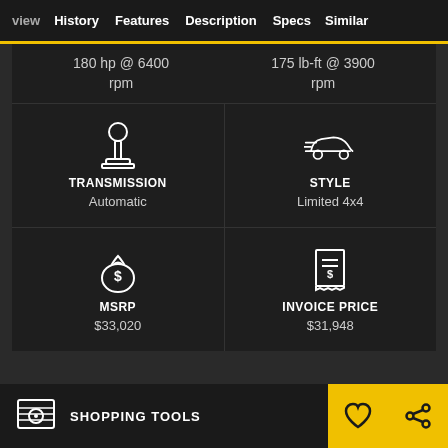view | History | Features | Description | Specs | Similar
180 hp @ 6400 rpm
175 lb-ft @ 3900 rpm
[Figure (illustration): Transmission icon (gear shift joystick)]
TRANSMISSION
Automatic
[Figure (illustration): Style icon (car side view)]
STYLE
Limited 4x4
[Figure (illustration): MSRP icon (money bag with dollar sign)]
MSRP
$33,020
[Figure (illustration): Invoice price icon (receipt with dollar sign)]
INVOICE PRICE
$31,948
Included Packages & Options
SHOPPING TOOLS